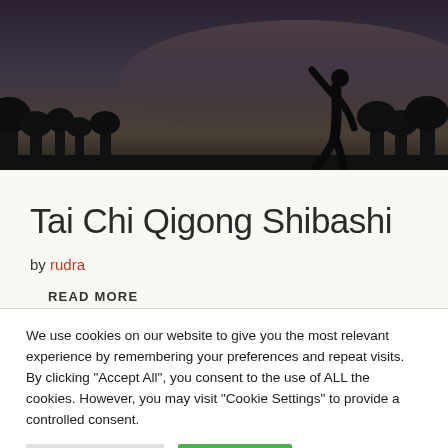[Figure (photo): Dark silhouette of a person walking against a twilight sky with trees in background]
Tai Chi Qigong Shibashi
by rudra
READ MORE
We use cookies on our website to give you the most relevant experience by remembering your preferences and repeat visits. By clicking "Accept All", you consent to the use of ALL the cookies. However, you may visit "Cookie Settings" to provide a controlled consent.
Cookie Settings   Accept All